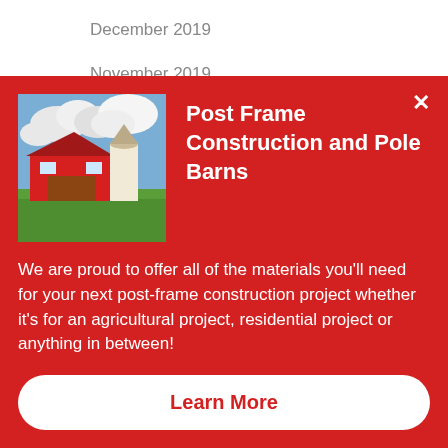December 2019
November 2019
October 2019
September 2019
August 2019
[Figure (photo): Red barn with white silo surrounded by green fields under a cloudy sky]
Post Frame Construction and Pole Barns
We are proud to offer all of the materials you'll need for your next post-frame construction project whether it's for an agricultural project, residential project or anything in between!
Learn More